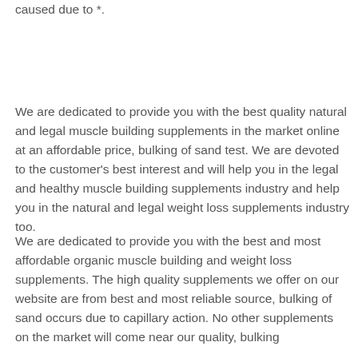caused due to *.
We are dedicated to provide you with the best quality natural and legal muscle building supplements in the market online at an affordable price, bulking of sand test. We are devoted to the customer's best interest and will help you in the legal and healthy muscle building supplements industry and help you in the natural and legal weight loss supplements industry too.
We are dedicated to provide you with the best and most affordable organic muscle building and weight loss supplements. The high quality supplements we offer on our website are from best and most reliable source, bulking of sand occurs due to capillary action. No other supplements on the market will come near our quality, bulking